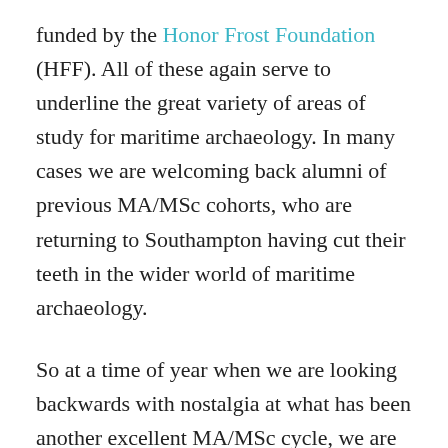funded by the Honor Frost Foundation (HFF). All of these again serve to underline the great variety of areas of study for maritime archaeology. In many cases we are welcoming back alumni of previous MA/MSc cohorts, who are returning to Southampton having cut their teeth in the wider world of maritime archaeology.
So at a time of year when we are looking backwards with nostalgia at what has been another excellent MA/MSc cycle, we are also looking forward to the potential of the next year. We are able to send one group of maritime archaeologists to begin the next stage of their careers while welcoming in their successors and